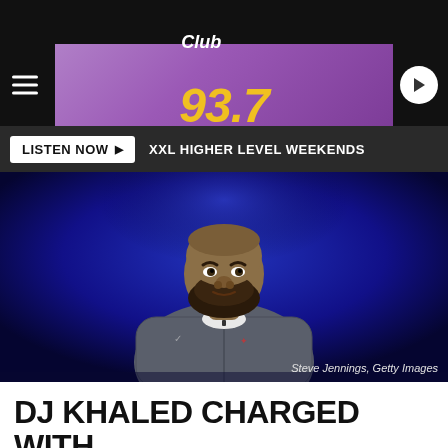Club 93.7
LISTEN NOW ▶  XXL HIGHER LEVEL WEEKENDS
[Figure (photo): DJ Khaled standing on stage wearing a grey Nike/Jordan brand zip-up jacket against a dark blue background. Photo credit: Steve Jennings, Getty Images]
Steve Jennings, Getty Images
DJ KHALED CHARGED WITH